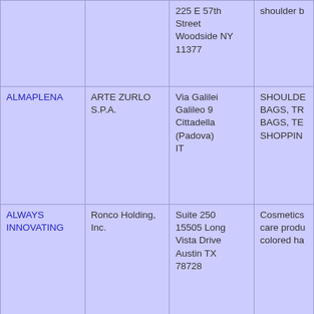|  |  | 225 E 57th Street Woodside NY 11377 | shoulder b... |
| ALMAPLENA | ARTE ZURLO S.P.A. | Via Galilei Galileo 9 Cittadella (Padova) IT | SHOULDER BAGS, TR... BAGS, TE... SHOPPIN... |
| ALWAYS INNOVATING | Ronco Holding, Inc. | Suite 250 15505 Long Vista Drive Austin TX 78728 | Cosmetics care produ... colored ha... |
| ANA M. | Ana M Original, Inc | 8730 west sunset Blvd West hollywood CA 90069 | Leather go... wallets, pu... and handb... |
|  |  |  |  |